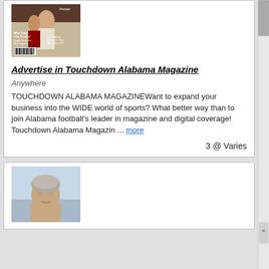[Figure (photo): Magazine cover of Touchdown Alabama showing football players, with 'Preview' text and a barcode at bottom]
Advertise in Touchdown Alabama Magazine
Anywhere
TOUCHDOWN ALABAMA MAGAZINEWant to expand your business into the WIDE world of sports? What better way than to join Alabama football's leader in magazine and digital coverage! Touchdown Alabama Magazin ... more
3 @ Varies
[Figure (photo): Portrait photo of a man with short gray/light hair against a light background]